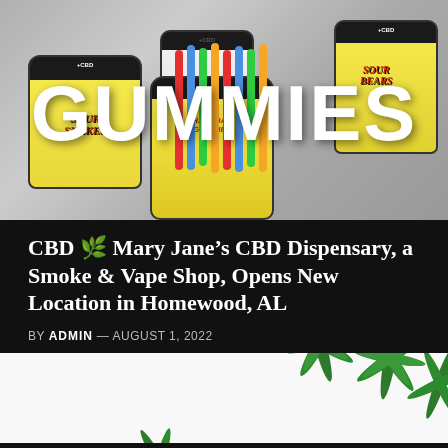[Figure (photo): Photo of CBD gummy products including jars labeled 'Sour Snakes', 'Sour Bears', and 'Hawaiian Gummies' against a gray background with large white text 'GUMMIES' overlaid]
CBD 🌿 Mary Jane's CBD Dispensary, a Smoke & Vape Shop, Opens New Location in Homewood, AL
BY ADMIN — AUGUST 1, 2022
[Figure (photo): Partial photo showing cannabis leaves on a white background]